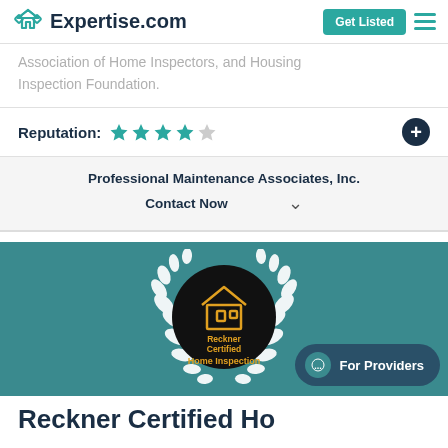Expertise.com | Get Listed
Association of Home Inspectors, and Housing Inspection Foundation.
Reputation: ★★★★☆
Professional Maintenance Associates, Inc.
Contact Now
[Figure (logo): Reckner Certified Home Inspection logo — circular black badge with white laurel wreath, gold house icon and text reading Reckner Certified Home Inspection, on a teal background]
For Providers
Reckner Certified Ho...